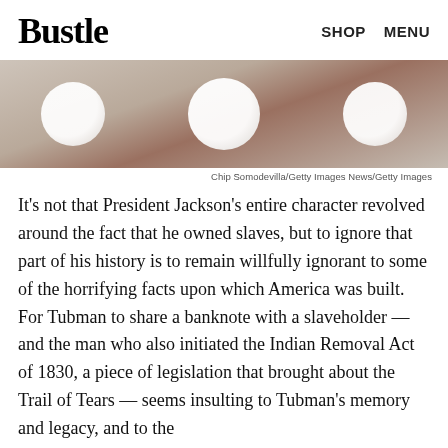Bustle   SHOP   MENU
[Figure (photo): Blurred photo showing three bright white circular lights against a warm tan/brown background]
Chip Somodevilla/Getty Images News/Getty Images
It's not that President Jackson's entire character revolved around the fact that he owned slaves, but to ignore that part of his history is to remain willfully ignorant to some of the horrifying facts upon which America was built. For Tubman to share a banknote with a slaveholder — and the man who also initiated the Indian Removal Act of 1830, a piece of legislation that brought about the Trail of Tears — seems insulting to Tubman's memory and legacy, and to the